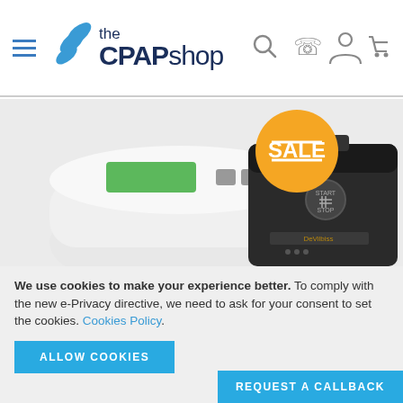the CPAP shop
[Figure (screenshot): Two CPAP machines side by side. Left: a white CPAP machine with green LCD display and grey control buttons. Right: a dark/black CPAP machine with a circular start/stop button and brand logo, with an orange 'SALE' badge overlaid.]
We use cookies to make your experience better. To comply with the new e-Privacy directive, we need to ask for your consent to set the cookies. Cookies Policy.
ALLOW COOKIES
REQUEST A CALLBACK